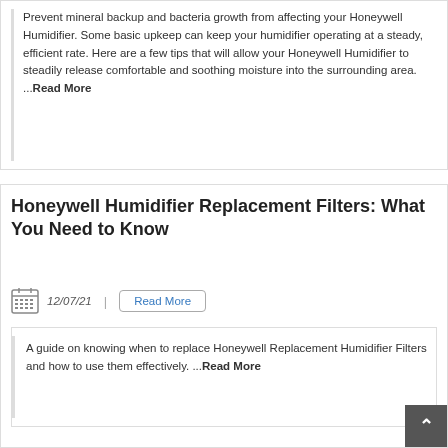Prevent mineral backup and bacteria growth from affecting your Honeywell Humidifier. Some basic upkeep can keep your humidifier operating at a steady, efficient rate. Here are a few tips that will allow your Honeywell Humidifier to steadily release comfortable and soothing moisture into the surrounding area. ...Read More
Honeywell Humidifier Replacement Filters: What You Need to Know
12/07/21
Read More
A guide on knowing when to replace Honeywell Replacement Humidifier Filters and how to use them effectively. ...Read More